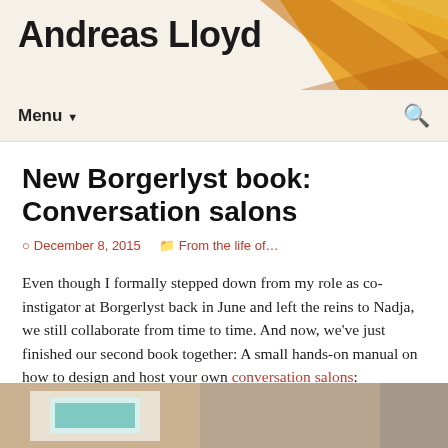Andreas Lloyd
New Borgerlyst book: Conversation salons
December 8, 2015   From the life of…
Even though I formally stepped down from my role as co-instigator at Borgerlyst back in June and left the reins to Nadja, we still collaborate from time to time. And now, we've just finished our second book together: A small hands-on manual on how to design and host your own conversation salons:
[Figure (photo): Photo of books/papers on a table, partially visible at bottom of page]